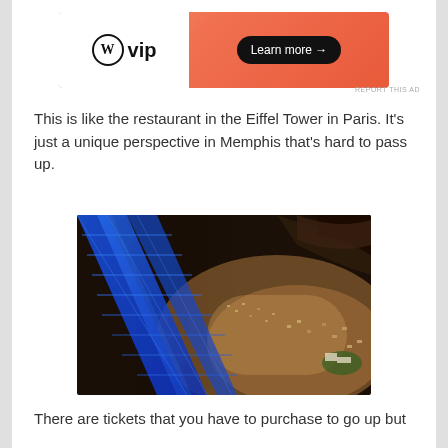[Figure (other): WordPress VIP advertisement banner with orange/peach gradient background, WordPress W logo with 'vip' text on left, and 'Learn more →' button on right]
REPORT THIS AD
This is like the restaurant in the Eiffel Tower in Paris. It's just a unique perspective in Memphis that's hard to pass up.
[Figure (photo): Aerial nighttime view looking down from a tall structure (likely Pyramid arena in Memphis) showing blue illuminated steel beams/trusses and crowd/parking area below]
There are tickets that you have to purchase to go up but